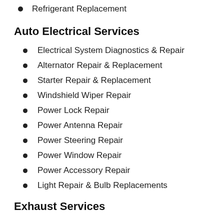Refrigerant Replacement
Auto Electrical Services
Electrical System Diagnostics & Repair
Alternator Repair & Replacement
Starter Repair & Replacement
Windshield Wiper Repair
Power Lock Repair
Power Antenna Repair
Power Steering Repair
Power Window Repair
Power Accessory Repair
Light Repair & Bulb Replacements
Exhaust Services